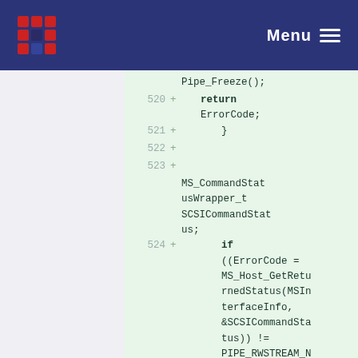Menu
[Figure (screenshot): Code diff view showing lines 520-524 of C source code with added lines (green background). Lines show: Pipe_Freeze(); return ErrorCode; } MS_CommandStatusWrapper_t SCSICommandStatus; if ((ErrorCode = MS_Host_GetReturnedStatus(MSInterfaceInfo, &SCSICommandStatus)) != PIPE_RWSTREAM_NoError)]